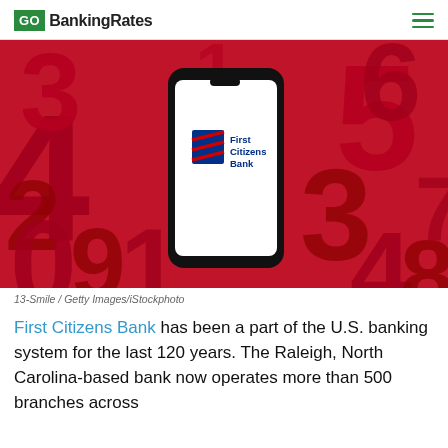GO BankingRates
[Figure (photo): Smartphone displaying First Citizens Bank logo on a red background filled with large numbers (1, 2, 3, 4, 5, 6, 9, 0). The phone screen is white with the First Citizens Bank logo (blue and red striped flag icon with blue text).]
13-Smile / Getty Images/iStockphoto
First Citizens Bank has been a part of the U.S. banking system for the last 120 years. The Raleigh, North Carolina-based bank now operates more than 500 branches across